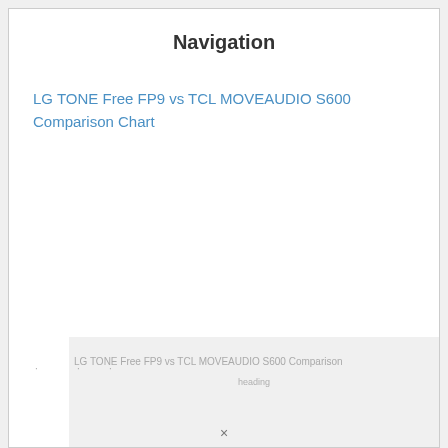Navigation
LG TONE Free FP9 vs TCL MOVEAUDIO S600 Comparison Chart